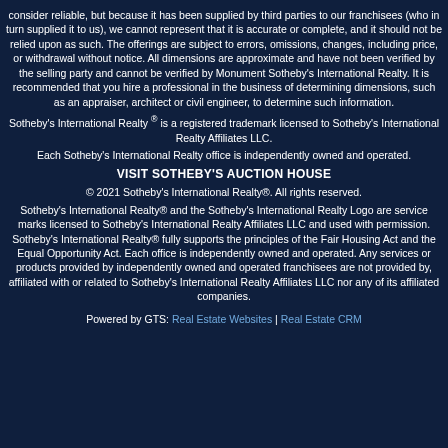consider reliable, but because it has been supplied by third parties to our franchisees (who in turn supplied it to us), we cannot represent that it is accurate or complete, and it should not be relied upon as such. The offerings are subject to errors, omissions, changes, including price, or withdrawal without notice. All dimensions are approximate and have not been verified by the selling party and cannot be verified by Monument Sotheby's International Realty. It is recommended that you hire a professional in the business of determining dimensions, such as an appraiser, architect or civil engineer, to determine such information.
Sotheby's International Realty ® is a registered trademark licensed to Sotheby's International Realty Affiliates LLC.
Each Sotheby's International Realty office is independently owned and operated.
VISIT SOTHEBY'S AUCTION HOUSE
© 2021 Sotheby's International Realty®. All rights reserved.
Sotheby's International Realty® and the Sotheby's International Realty Logo are service marks licensed to Sotheby's International Realty Affiliates LLC and used with permission. Sotheby's International Realty® fully supports the principles of the Fair Housing Act and the Equal Opportunity Act. Each office is independently owned and operated. Any services or products provided by independently owned and operated franchisees are not provided by, affiliated with or related to Sotheby's International Realty Affiliates LLC nor any of its affiliated companies.
Powered by GTS: Real Estate Websites | Real Estate CRM